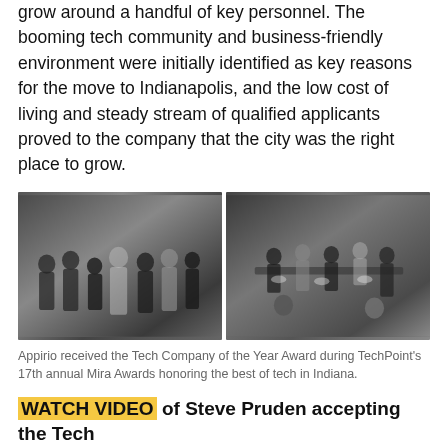grow around a handful of key personnel. The booming tech community and business-friendly environment were initially identified as key reasons for the move to Indianapolis, and the low cost of living and steady stream of qualified applicants proved to the company that the city was the right place to grow.
[Figure (photo): Two side-by-side photos of Appirio employees at the TechPoint Mira Awards event. Left photo shows a group of about 10 people in formal attire posing together. Right photo shows a group seated at a long banquet table.]
Appirio received the Tech Company of the Year Award during TechPoint's 17th annual Mira Awards honoring the best of tech in Indiana.
WATCH VIDEO of Steve Pruden accepting the Tech